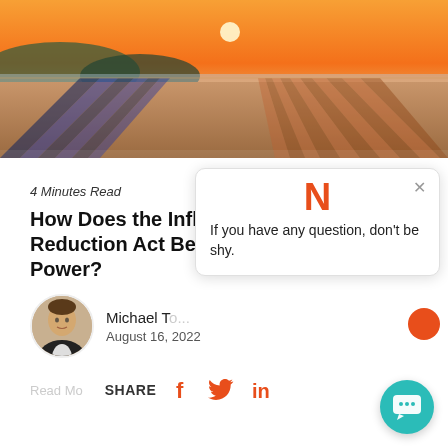[Figure (photo): Aerial view of a large solar panel farm at sunset with orange sky and distant hills]
4 Minutes Read
How Does the Inflation Reduction Act Benefit Solar Power?
[Figure (infographic): Chat popup overlay with orange N logo and message: If you have any question, don't be shy.]
Michael T
August 16, 2022
SHARE